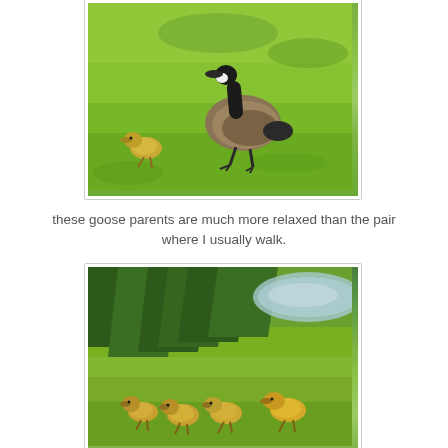[Figure (photo): A Canada goose (adult) walking on bright green grass with one small gosling nearby. The goose has a black neck, white cheek patch, and brown/grey body.]
these goose parents are much more relaxed than the pair where I usually walk.
[Figure (photo): Four goslings (baby Canada geese) walking on green grass, with trees and a pond/water visible in the background.]